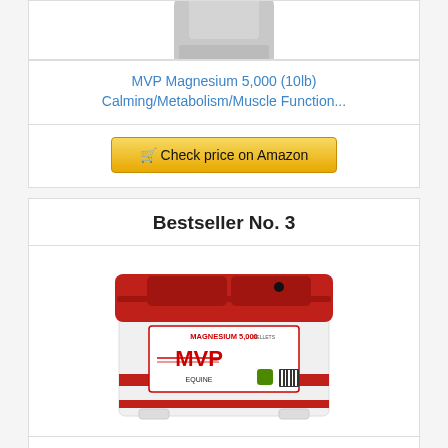[Figure (photo): Partial view of a grey/silver bag product at the top of the page]
MVP Magnesium 5,000 (10lb) Calming/Metabolism/Muscle Function...
Check price on Amazon
Bestseller No. 3
[Figure (photo): White bucket with red lid labeled MAGNESIUM 5,000 MVP EQUINE]
Magnesium 5,000 (20lb)